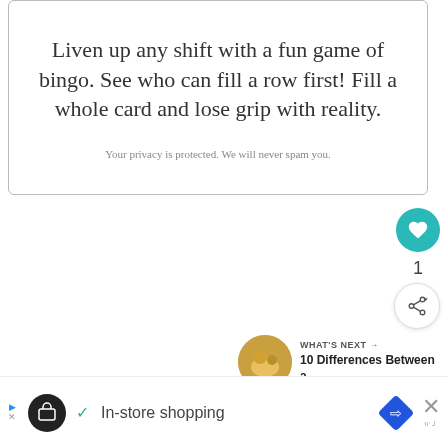Liven up any shift with a fun game of bingo. See who can fill a row first! Fill a whole card and lose grip with reality.
Your privacy is protected. We will never spam you.
[Figure (infographic): Teal circular like button with heart icon]
1
[Figure (infographic): White circular share button with share icon]
WHAT'S NEXT → 10 Differences Between a...
[Figure (infographic): Ad bar: In-store shopping with icons]